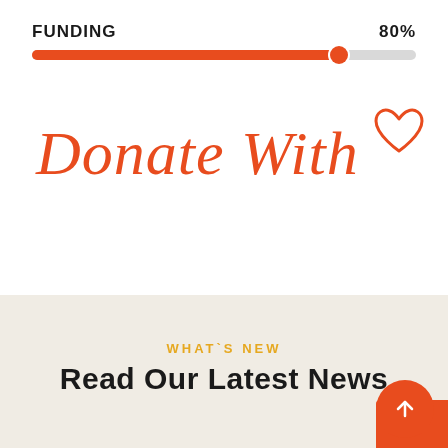FUNDING   80%
[Figure (infographic): A horizontal progress bar showing 80% funding, with an orange/red filled portion and a circular knob at the 80% mark, on a light grey track.]
Donate With ♡
WHAT`S NEW
Read Our Latest News